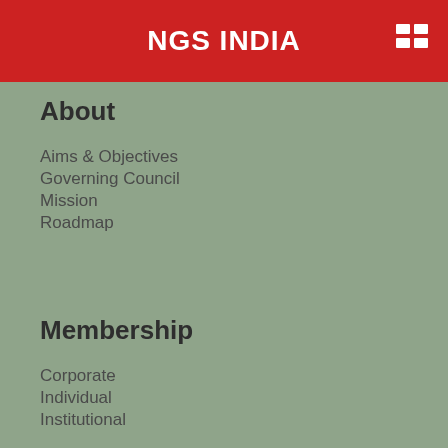NGS INDIA
About
Aims & Objectives
Governing Council
Mission
Roadmap
Membership
Corporate
Individual
Institutional
Resources
Discussion Paper
Publications